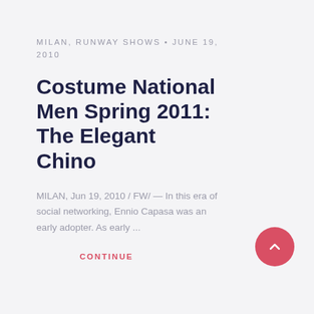MILAN, RUNWAY SHOWS • JUNE 19, 2010
Costume National Men Spring 2011: The Elegant Chino
MILAN, Jun 19, 2010 / FW/ — In this era of social networking, Ennio Capasa was an early adopter. As early ...
CONTINUE